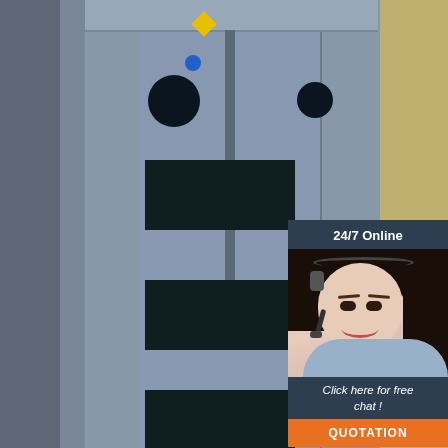[Figure (photo): Industrial C Frame Hydraulic Press machine (grey metal frame with windows/openings) photographed in a workshop setting, with Anyang ST logo overlay in lower left of image]
[Figure (infographic): 24/7 Online chat widget overlay on right side of image, showing a female customer service agent with headset, 'Click here for free chat!' text, and orange QUOTATION button]
C Frame Hydraulic Press and Price in India
HIPAT Mild Steel C FRAME HYDRAULIC PRESS, For Industrial, Max Force Or Load: 30-60 ton. ₹ 3.50 Lakh. Pathak Industries Kol. 63 Ton C Frame Hydraulic Press Machine. ₹ 1 Lakh. Nirmal Machine Tools. Maruti Ms C Type Hydraulic Press Machine, Capacity: 5-300 Tons. ₹ 1 Lakh